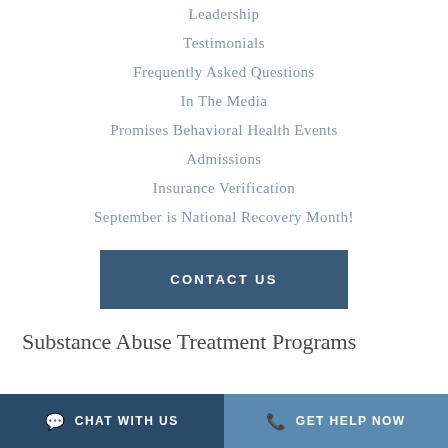Leadership
Testimonials
Frequently Asked Questions
In The Media
Promises Behavioral Health Events
Admissions
Insurance Verification
September is National Recovery Month!
CONTACT US
Substance Abuse Treatment Programs
CHAT WITH US   GET HELP NOW